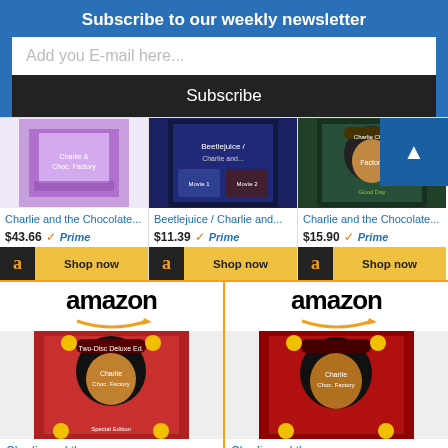Subscribe to our weekly newsletter
Add you E-mail here...
Subscribe
[Figure (screenshot): Amazon product card: Charlie and the Chocolate... $43.66 Prime, Shop now button]
[Figure (screenshot): Amazon product card: Beetlejuice / Charlie and... $11.39 Prime, Shop now button]
[Figure (screenshot): Amazon product card: Charlie and the Chocolate... $15.90 Prime, Shop now button]
[Figure (screenshot): Amazon product card row 2 left: Amazon logo, Charlie and the Chocolate... movie cover]
[Figure (screenshot): Amazon product card row 2 right: Amazon logo, Charlie and the movie cover]